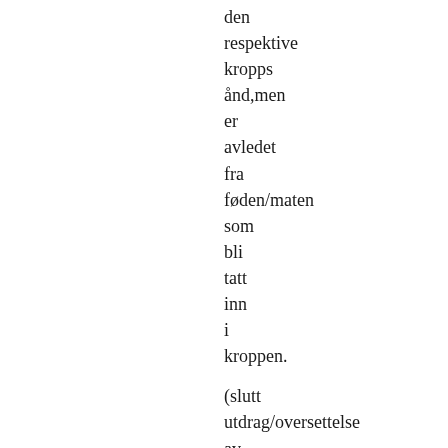den respektive kropps ånd,men er avledet fra føden/maten som bli tatt inn i kroppen.

(slutt utdrag/oversettelse av denne interessante bok om temaet. Lydbok eng.av www)